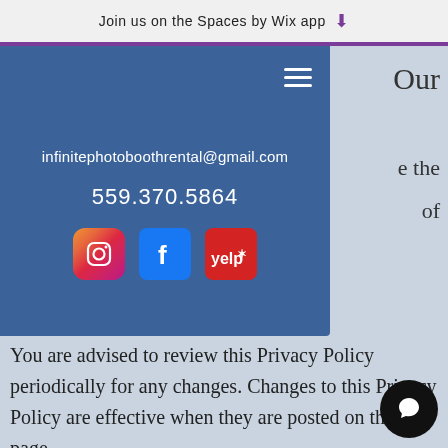Join us on the Spaces by Wix app
infinitephotoboothrental@gmail.com
559.370.5864
[Figure (screenshot): Social media icons: Instagram, Facebook, Yelp]
You are advised to review this Privacy Policy periodically for any changes. Changes to this Privacy Policy are effective when they are posted on this page.
Contact Us
If you have any questions abou...